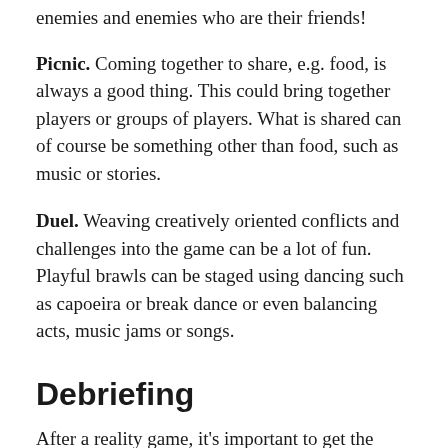enemies and enemies who are their friends!
Picnic. Coming together to share, e.g. food, is always a good thing. This could bring together players or groups of players. What is shared can of course be something other than food, such as music or stories.
Duel. Weaving creatively oriented conflicts and challenges into the game can be a lot of fun. Playful brawls can be staged using dancing such as capoeira or break dance or even balancing acts, music jams or songs.
Debriefing
After a reality game, it’s important to get the players talking to each other about what they have and have not done. If they know each other well enough, this will